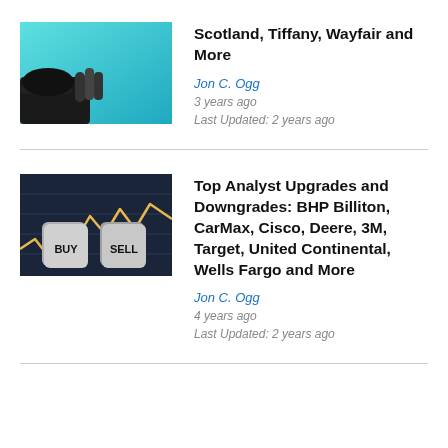[Figure (photo): Hand reaching out against teal/cyan background]
Scotland, Tiffany, Wayfair and More
Jon C. Ogg
3 years ago
Last Updated: 2 years ago
[Figure (photo): BUY and SELL dice on a dark financial chart background]
Top Analyst Upgrades and Downgrades: BHP Billiton, CarMax, Cisco, Deere, 3M, Target, United Continental, Wells Fargo and More
Jon C. Ogg
4 years ago
Last Updated: 2 years ago